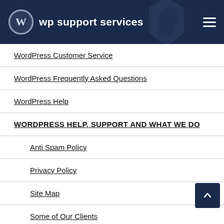wp support services
WordPress Customer Service
WordPress Frequently Asked Questions
WordPress Help
WORDPRESS HELP, SUPPORT and WHAT WE DO
Anti Spam Policy
Privacy Policy
Site Map
Some of Our Clients